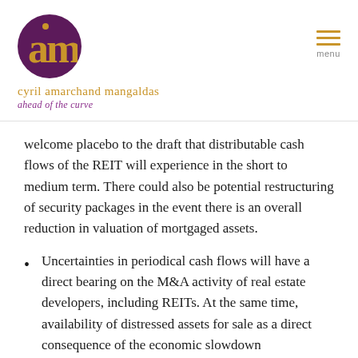cyril amarchand mangaldas — ahead of the curve
welcome placebo to the draft that distributable cash flows of the REIT will experience in the short to medium term. There could also be potential restructuring of security packages in the event there is an overall reduction in valuation of mortgaged assets.
Uncertainties in periodical cash flows will have a direct bearing on the M&A activity of real estate developers, including REITs. At the same time, availability of distressed assets for sale as a direct consequence of the economic slowdown